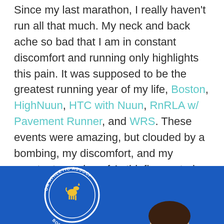Since my last marathon, I really haven't run all that much. My neck and back ache so bad that I am in constant discomfort and running only highlights this pain. It was supposed to be the greatest running year of my life, Boston, HighNuun, HTC with Nuun, RnRLA w/ Pavement Runner, and WRS. These events were amazing, but clouded by a bombing, my discomfort, and my constant popping of Anti-inflammatories, visits to the chiropractor, and migraine medication.
[Figure (photo): Blue background showing partial Boston Athletic Association logo with unicorn emblem and curved text reading 'ON ATHLETIC ASSOCI', with a partial view of a person's head at bottom right.]